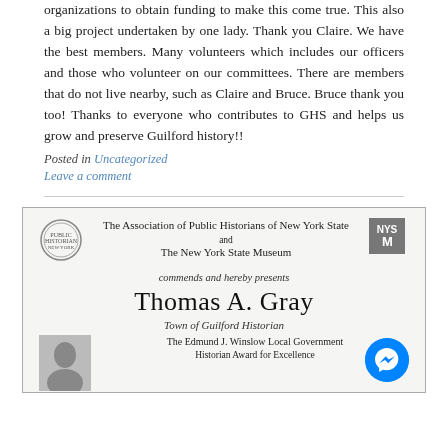organizations to obtain funding to make this come true. This also a big project undertaken by one lady. Thank you Claire. We have the best members. Many volunteers which includes our officers and those who volunteer on our committees. There are members that do not live nearby, such as Claire and Bruce. Bruce thank you too! Thanks to everyone who contributes to GHS and helps us grow and preserve Guilford history!!
Posted in Uncategorized
Leave a comment
[Figure (other): Award certificate from The Association of Public Historians of New York State and The New York State Museum, presented to Thomas A. Gray, Town of Guilford Historian, for The Edmund J. Winslow Local Government Historian Award for Excellence. Includes NYS Museum logo, circular organization seal, and a small photo of Thomas A. Gray.]